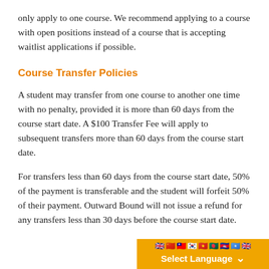only apply to one course. We recommend applying to a course with open positions instead of a course that is accepting waitlist applications if possible.
Course Transfer Policies
A student may transfer from one course to another one time with no penalty, provided it is more than 60 days from the course start date. A $100 Transfer Fee will apply to subsequent transfers more than 60 days from the course start date.
For transfers less than 60 days from the course start date, 50% of the payment is transferable and the student will forfeit 50% of their payment. Outward Bound will not issue a refund for any transfers less than 30 days before the course start date.